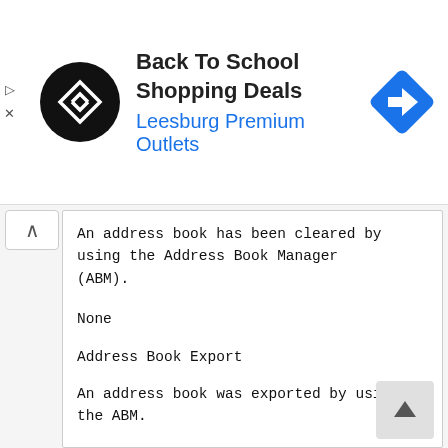[Figure (other): Advertisement banner for Back To School Shopping Deals at Leesburg Premium Outlets, with circular logo, text, and blue diamond direction icon]
An address book has been cleared by using the Address Book Manager (ABM).
None
Address Book Export
An address book was exported by using the ABM.
None
Address Book Import
An address book was imported by using